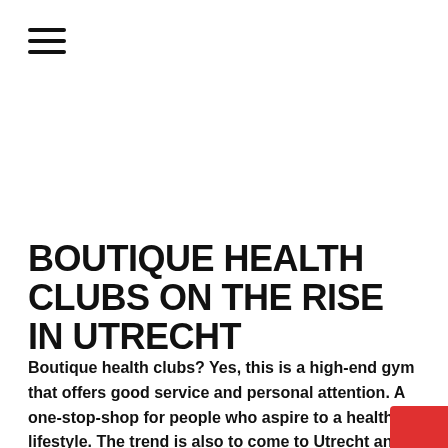[Figure (other): Hamburger menu icon — three horizontal black lines]
BOUTIQUE HEALTH CLUBS ON THE RISE IN UTRECHT
Boutique health clubs? Yes, this is a high-end gym that offers good service and personal attention. A one-stop-shop for people who aspire to a healthy lifestyle. The trend is also to come to Utrecht and I'm happy with that. I exercise regularly and like to visit the next three boutique health clubs in Utrecht.